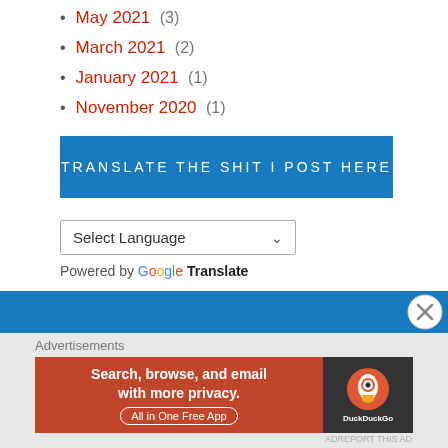May 2021 (3)
March 2021 (2)
January 2021 (1)
November 2020 (1)
[Figure (other): Blue banner with text TRANSLATE THE SHIT I POST HERE]
[Figure (screenshot): Select Language dropdown and Powered by Google Translate widget]
[Figure (other): Blue footer bar with close X button]
Advertisements
[Figure (other): DuckDuckGo advertisement banner: Search, browse, and email with more privacy. All in One Free App]